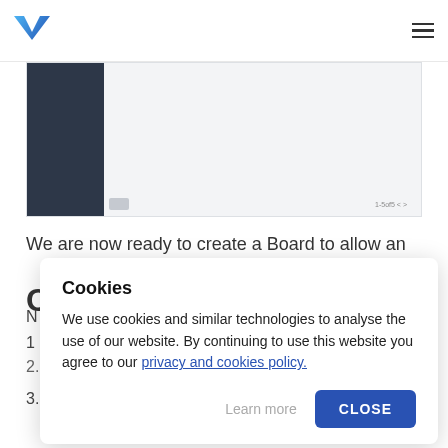[Logo] [Hamburger menu]
[Figure (screenshot): Screenshot of a Kanban board application with a dark sidebar panel on the left and a light gray main content area. A pagination indicator shows '1-5of5' at the bottom right.]
We are now ready to create a Board to allow an o
C
N s
1
2. Click tab row in the navigation bar
3. Select Board (Kanban)
Cookies
We use cookies and similar technologies to analyse the use of our website. By continuing to use this website you agree to our privacy and cookies policy.
Learn more   CLOSE